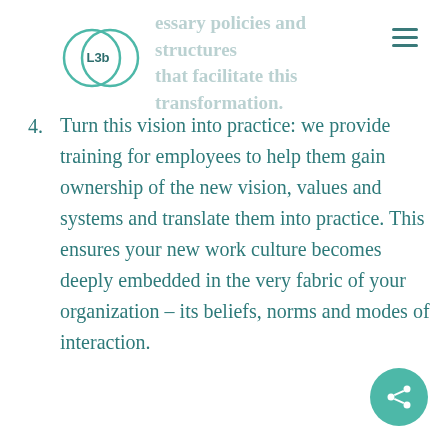L3b
essary policies and structures that facilitate this transformation.
4. Turn this vision into practice: we provide training for employees to help them gain ownership of the new vision, values and systems and translate them into practice. This ensures your new work culture becomes deeply embedded in the very fabric of your organization – its beliefs, norms and modes of interaction.